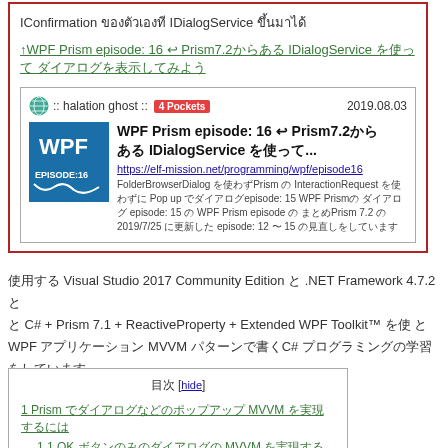IConfirmation ของตัวเองที IDialogService ขึ้นมาได้
↑WPF Prism episode: 16 ↩ Prism7.2からある IDialogService を使って ダイアログを表示してみよう
[Figure (screenshot): Embedded card showing WPF Prism episode 16 blog post preview with icon, title, URL, and description text. Date: 2019.08.03, badge: 4 Pockets]
使用する Visual Studio 2017 Community Edition と .NET Framework 4.7.2 と と C# + Prism 7.1 + ReactiveProperty + Extended WPF Toolkit™ を使 WPF アプリケーション MVVM パターンで書くC# プログラミングの学習をしています。
目次 [hide]
1 Prism でダイアログなどのポップアップ MVVM を実現するには
1.1 OK ボタンのみのダイアログの MVVM を実現するには